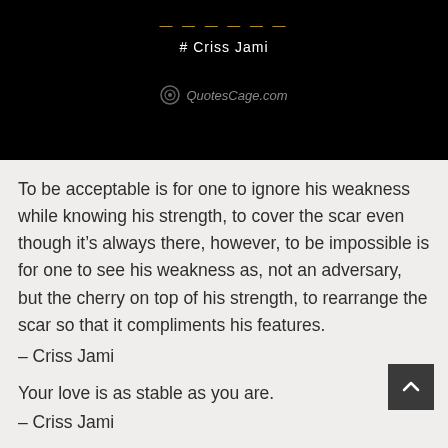[Figure (illustration): Black banner with golden dashes decoration, white text '# Criss Jami', and grey watermark 'QuotesCage.com' with circular logo icon]
To be acceptable is for one to ignore his weakness while knowing his strength, to cover the scar even though it’s always there, however, to be impossible is for one to see his weakness as, not an adversary, but the cherry on top of his strength, to rearrange the scar so that it compliments his features.
– Criss Jami
Your love is as stable as you are.
– Criss Jami